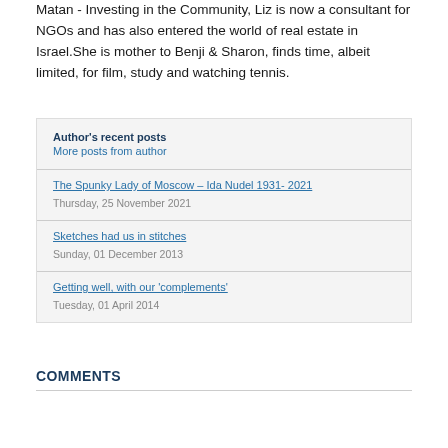Matan - Investing in the Community, Liz is now a consultant for NGOs and has also entered the world of real estate in Israel.She is mother to Benji & Sharon, finds time, albeit limited, for film, study and watching tennis.
Author's recent posts
More posts from author
The Spunky Lady of Moscow – Ida Nudel 1931- 2021
Thursday, 25 November 2021
Sketches had us in stitches
Sunday, 01 December 2013
Getting well, with our 'complements'
Tuesday, 01 April 2014
COMMENTS